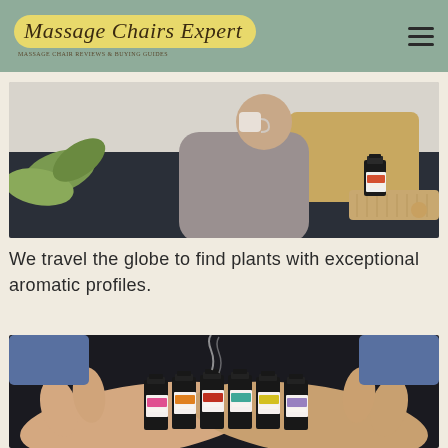Massage Chairs Expert
[Figure (photo): Woman sitting on a dark sofa holding a mug, with a small essential oil bottle on a wicker tray in the foreground and a plant on the left.]
We travel the globe to find plants with exceptional aromatic profiles.
[Figure (photo): Hands cupped together holding six small essential oil bottles with colorful labels, with wisps of smoke/mist rising from one bottle.]